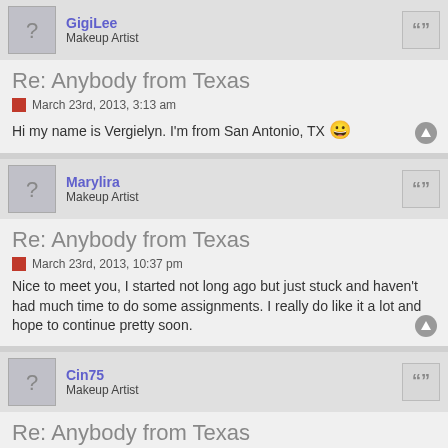GigiLee — Makeup Artist
Re: Anybody from Texas
March 23rd, 2013, 3:13 am
Hi my name is Vergielyn. I'm from San Antonio, TX 😀
Marylira — Makeup Artist
Re: Anybody from Texas
March 23rd, 2013, 10:37 pm
Nice to meet you, I started not long ago but just stuck and haven't had much time to do some assignments. I really do like it a lot and hope to continue pretty soon.
Cin75 — Makeup Artist
Re: Anybody from Texas
March 25th, 2013, 5:03 pm
Hi my name is Cindy, I'm from Odessa, TX ... I have been doing this for awhile now, I got 2 more units left, can't wait to finish.